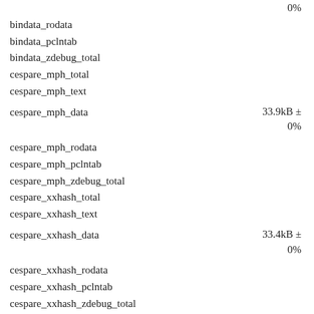| Name | Value |
| --- | --- |
|  | 0% |
| bindata_rodata |  |
| bindata_pclntab |  |
| bindata_zdebug_total |  |
| cespare_mph_total |  |
| cespare_mph_text |  |
| cespare_mph_data | 33.9kB ± 0% |
| cespare_mph_rodata |  |
| cespare_mph_pclntab |  |
| cespare_mph_zdebug_total |  |
| cespare_xxhash_total |  |
| cespare_xxhash_text |  |
| cespare_xxhash_data | 33.4kB ± 0% |
| cespare_xxhash_rodata |  |
| cespare_xxhash_pclntab |  |
| cespare_xxhash_zdebug_total |  |
| gtank_blake2s_total |  |
| gtank_blake2s_text |  |
| gtank_blake2s_data | 34.6kB ± 0% |
| gtank_blake2s_rodata |  |
| gtank_blake2s_pclntab |  |